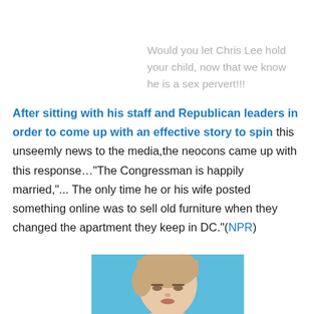Would you let Chris Lee hold your child, now that we know he is a sex pervert!!!
After sitting with his staff and Republican leaders in order to come up with an effective story to spin this unseemly news to the media,the neocons came up with this response…"The Congressman is happily married,"... The only time he or his wife posted something online was to sell old furniture when they changed the apartment they keep in DC."(NPR)
[Figure (photo): Close-up photo of a woman's face against a blue background]